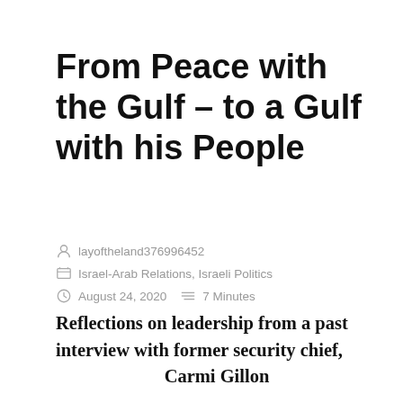From Peace with the Gulf – to a Gulf with his People
layoftheland376996452
Israel-Arab Relations, Israeli Politics
August 24, 2020    7 Minutes
Reflections on leadership from a past interview with former security chief, Carmi Gillon